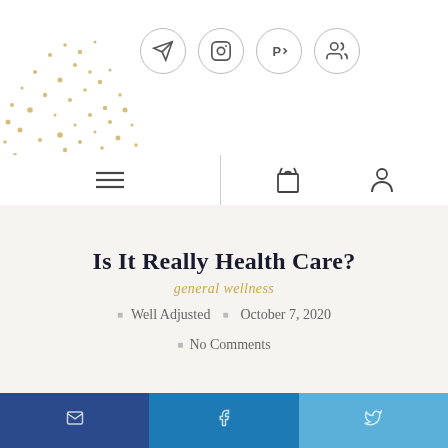[Figure (illustration): Header area with gold dot/confetti pattern on the left and four social media icon circles (send/telegram, Instagram, Parler, and home/people icon) on the right]
[Figure (illustration): Navigation bar with hamburger menu icon on the left, vertical divider, bag/shopping icon and user/person icon on the right]
Is It Really Health Care?
general wellness
Well Adjusted · October 7, 2020
No Comments
[Figure (illustration): Three-segment footer bar in dark blue, medium blue, and light blue, each containing a small white icon]